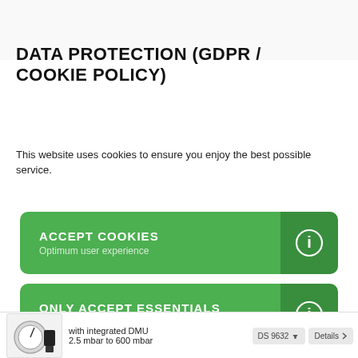DATA PROTECTION (GDPR / COOKIE POLICY)
This website uses cookies to ensure you enjoy the best possible service.
ACCEPT COOKIES
Optimum user experience
ONLY ACCEPT ESSENTIALS
accept essential cookies
with integrated DMU
2.5 mbar to 600 mbar
DS 9632   Details